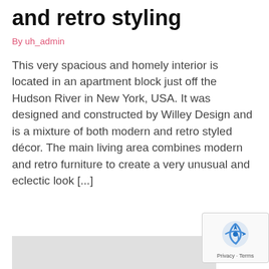and retro styling
By uh_admin
This very spacious and homely interior is located in an apartment block just off the Hudson River in New York, USA. It was designed and constructed by Willey Design and is a mixture of both modern and retro styled décor. The main living area combines modern and retro furniture to create a very unusual and eclectic look [...]
[Figure (photo): Partial image placeholder at bottom of page]